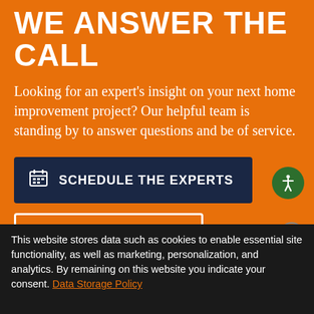WE ANSWER THE CALL
Looking for an expert's insight on your next home improvement project? Our helpful team is standing by to answer questions and be of service.
SCHEDULE THE EXPERTS
888-402-3514
This website stores data such as cookies to enable essential site functionality, as well as marketing, personalization, and analytics. By remaining on this website you indicate your consent. Data Storage Policy